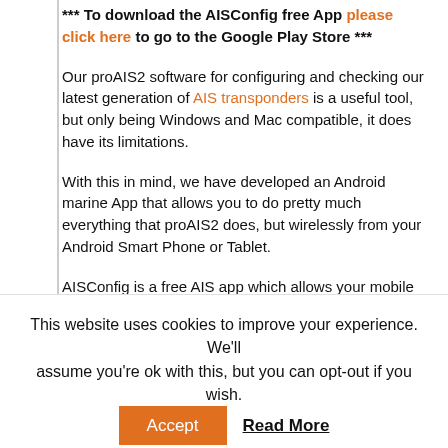*** To download the AISConfig free App please click here to go to the Google Play Store ***
Our proAIS2 software for configuring and checking our latest generation of AIS transponders is a useful tool, but only being Windows and Mac compatible, it does have its limitations.
With this in mind, we have developed an Android marine App that allows you to do pretty much everything that proAIS2 does, but wirelessly from your Android Smart Phone or Tablet.
AISConfig is a free AIS app which allows your mobile Android phone or tablet to wirelessly connect to the latest range of Digital Yacht Class B AIS Transponders; AIT1500, AIT2000 and AIT3000. Once connected, AISConfig can also configure the device and all
This website uses cookies to improve your experience. We'll assume you're ok with this, but you can opt-out if you wish.